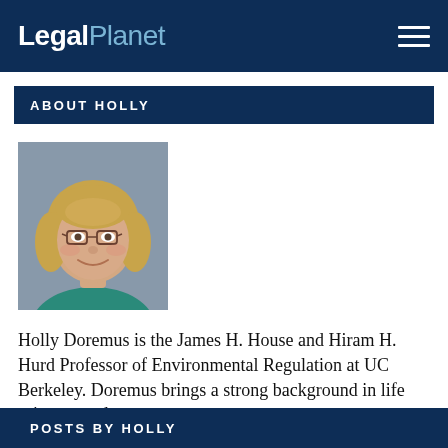LegalPlanet
ABOUT HOLLY
[Figure (photo): Headshot of Holly Doremus, a woman with blonde hair and glasses, smiling, wearing a teal top]
Holly Doremus is the James H. House and Hiram H. Hurd Professor of Environmental Regulation at UC Berkeley. Doremus brings a strong background in life sciences and a comm…
READ MORE
POSTS BY HOLLY